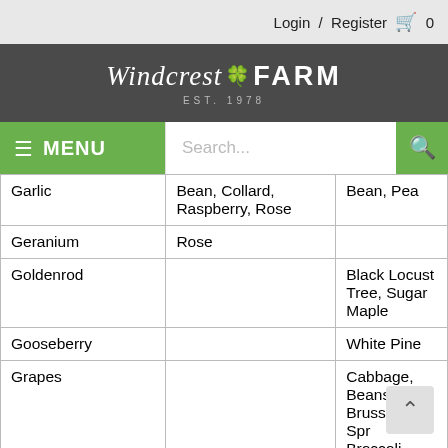Login / Register  🛒 0
[Figure (logo): Windcrest Farm EST. 1978 logo on dark grey background]
≡ MENU  Search...  🔍
| Garlic | Bean, Collard, Raspberry, Rose | Bean, Pea |
| Geranium | Rose |  |
| Goldenrod |  | Black Locust Tree, Sugar Maple |
| Gooseberry |  | White Pine |
| Grapes |  | Cabbage, Beans, Brussels Sprouts, Broccoli, Cauliflower, Chives, Collard, |